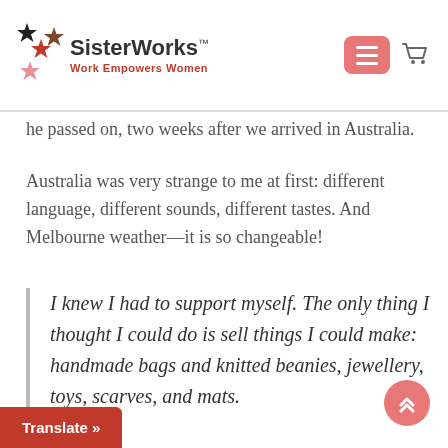SisterWorks™ — Work Empowers Women
he passed on, two weeks after we arrived in Australia.
Australia was very strange to me at first: different language, different sounds, different tastes. And Melbourne weather—it is so changeable!
I knew I had to support myself. The only thing I thought I could do is sell things I could make: handmade bags and knitted beanies, jewellery, toys, scarves, and mats.